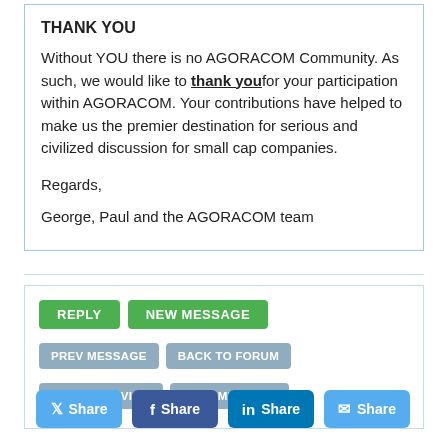THANK YOU
Without YOU there is no AGORACOM Community. As such, we would like to thank you for your participation within AGORACOM. Your contributions have helped to make us the premier destination for serious and civilized discussion for small cap companies.
Regards,
George, Paul and the AGORACOM team
[Figure (screenshot): Action buttons: REPLY (green), NEW MESSAGE (green), PREV MESSAGE (grey-blue), BACK TO FORUM (grey-blue), THREADED VIEW (grey-blue), NEXT MESSAGE (grey-blue)]
[Figure (screenshot): Share buttons: Twitter Share (blue), Facebook Share (dark blue), LinkedIn Share (blue), Email Share (blue)]